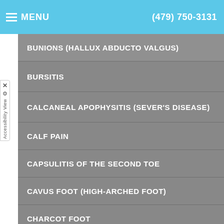MENU (479) 750-3131
BUNIONS (HALLUX ABDUCTO VALGUS)
BURSITIS
CALCANEAL APOPHYSITIS (SEVER'S DISEASE)
CALF PAIN
CAPSULITIS OF THE SECOND TOE
CAVUS FOOT (HIGH-ARCHED FOOT)
CHARCOT FOOT
CHRONIC ANKLE INSTABILITY